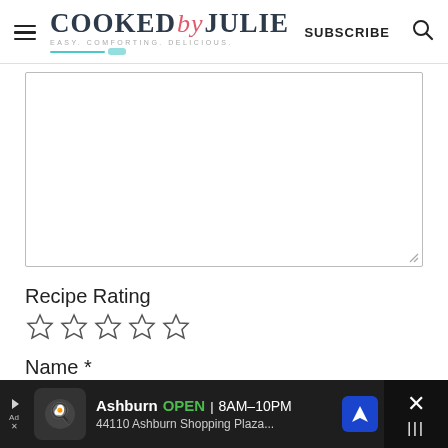COOKED by JULIE — EASY. COMFORTING. DELICIOUS. — SUBSCRIBE
[Figure (other): Large text comment/review input textarea with resize handle]
Recipe Rating
[Figure (other): Five empty star rating icons]
Name *
[Figure (other): Name text input field]
[Figure (other): Advertisement banner: Ashburn OPEN 8AM-10PM, 44110 Ashburn Shopping Plaza...]